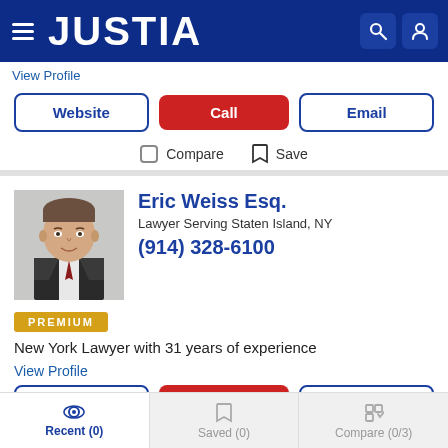JUSTIA
View Profile
Website | Call | Email
Compare  Save
Eric Weiss Esq.
Lawyer Serving Staten Island, NY
(914) 328-6100
PREMIUM
New York Lawyer with 31 years of experience
View Profile
Recent (0)  Saved (0)  Compare (0/3)